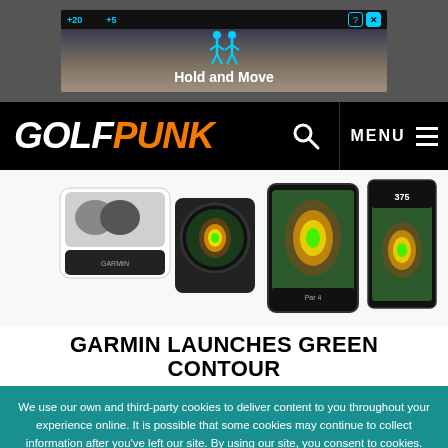[Figure (screenshot): Advertisement banner showing a dark outdoor scene with blue human figure icons and text 'Hold and Move', with close/info buttons at top right]
[Figure (logo): GolfPunk logo in white and orange italic bold text on black navigation bar, with search icon and hamburger menu]
[Figure (photo): Garmin golf devices: a rangefinder, a GPS watch, a smartphone and another phone showing green contour maps]
GARMIN LAUNCHES GREEN CONTOUR
We use our own and third-party cookies to deliver content to you throughout your experience online. It is possible that some cookies may continue to collect information after you've left our site. By using our site, you consent to cookies. Learn more here.
OK, GOT IT!